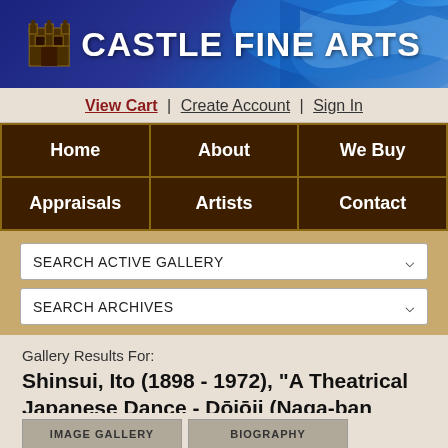[Figure (screenshot): Castle Fine Arts website header banner with logo and decorative blue/white background]
View Cart | Create Account | Sign In
| Home | About | We Buy |
| --- | --- | --- |
| Appraisals | Artists | Contact |
SEARCH ACTIVE GALLERY
SEARCH ARCHIVES
Gallery Results For:
Shinsui, Ito (1898 - 1972), "A Theatrical Japanese Dance - Dōjōji (Naga-ban Format)"
Image 10 of 55
Image Gallery | Biography